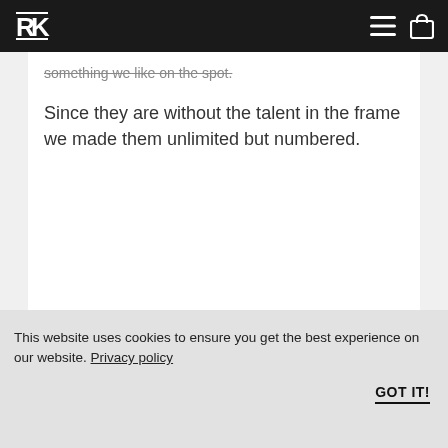[Logo] [Menu icon] [Cart icon]
Something we like on the spot.
Since they are without the talent in the frame we made them unlimited but numbered.
This website uses cookies to ensure you get the best experience on our website. Privacy policy
GOT IT!